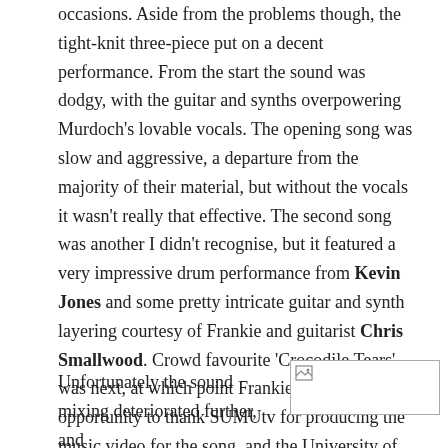occasions. Aside from the problems though, the tight-knit three-piece put on a decent performance. From the start the sound was dodgy, with the guitar and synths overpowering Murdoch's lovable vocals. The opening song was slow and aggressive, a departure from the majority of their material, but without the vocals it wasn't really that effective. The second song was another I didn't recognise, but it featured a very impressive drum performance from Kevin Jones and some pretty intricate guitar and synth layering courtesy of Frankie and guitarist Chris Smallwood. Crowd favourite 'Crocodile Tears' was next, at which point Frankie took the opportunity to thank SUMUtv for producing the music video for the song, and the University of Southampton in general for the support.
Unfortunately the sound mixing deteriorated further, and
[Figure (photo): Broken or missing image placeholder (small image icon in top-left corner of a bordered rectangle)]